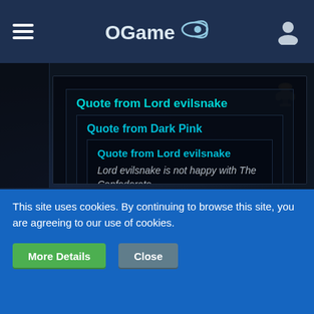OGame navigation header
Quote from Lord evilsnake
Quote from Dark Pink
Quote from Lord evilsnake
Lord evilsnake is not happy with The Confederate.
Is Lord Evilsnake referring to a group or an associate
This site uses cookies. By continuing to browse this site, you are agreeing to our use of cookies.
More Details
Close